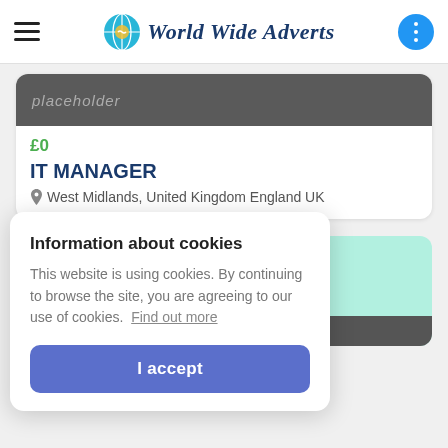World Wide Adverts
£0
IT MANAGER
West Midlands, United Kingdom England UK
Information about cookies
This website is using cookies. By continuing to browse the site, you are agreeing to our use of cookies. Find out more
I accept
Applying/Searching